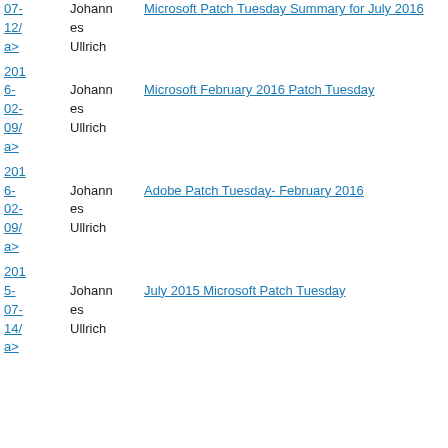07-12/a> | Johannes Ullrich | Microsoft Patch Tuesday Summary for July 2016
2016-02-09/a> | Johannes Ullrich | Microsoft February 2016 Patch Tuesday
2016-02-09/a> | Johannes Ullrich | Adobe Patch Tuesday- February 2016
2015-07-14/a> | Johannes Ullrich | July 2015 Microsoft Patch Tuesday